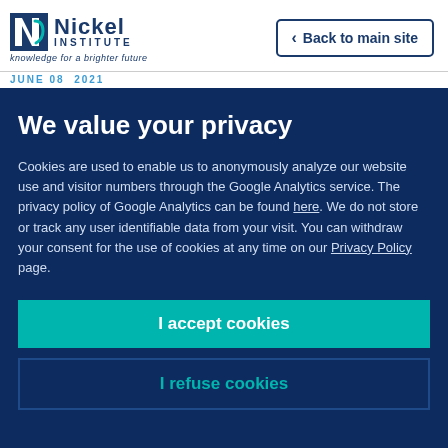[Figure (logo): Nickel Institute logo with N icon, text 'Nickel INSTITUTE' and tagline 'knowledge for a brighter future']
[Figure (other): Back to main site button with left arrow chevron, bordered rectangle]
JUNE 08  2021
We value your privacy
Cookies are used to enable us to anonymously analyze our website use and visitor numbers through the Google Analytics service. The privacy policy of Google Analytics can be found here. We do not store or track any user identifiable data from your visit. You can withdraw your consent for the use of cookies at any time on our Privacy Policy page.
I accept cookies
I refuse cookies